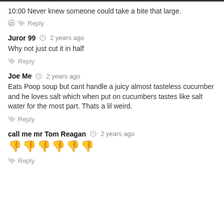10:00 Never knew someone could take a bite that large.
Reply
Juror 99  2 years ago
Why not just cut it in half
Reply
Joe Me  2 years ago
Eats Poop soup but cant handle a juicy almost tasteless cucumber and he loves salt which when put on cucumbers tastes like salt water for the most part. Thats a lil weird.
Reply
call me mr Tom Reagan  2 years ago
👎👎👎👎👎👎
Reply